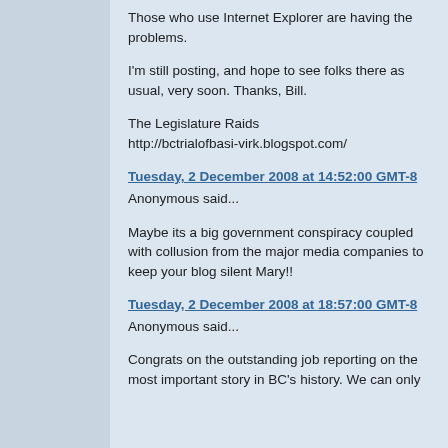Those who use Internet Explorer are having the problems.
I'm still posting, and hope to see folks there as usual, very soon. Thanks, Bill.
The Legislature Raids
http://bctrialofbasi-virk.blogspot.com/
Tuesday, 2 December 2008 at 14:52:00 GMT-8
Anonymous said...
Maybe its a big government conspiracy coupled with collusion from the major media companies to keep your blog silent Mary!!
Tuesday, 2 December 2008 at 18:57:00 GMT-8
Anonymous said...
Congrats on the outstanding job reporting on the most important story in BC's history. We can only